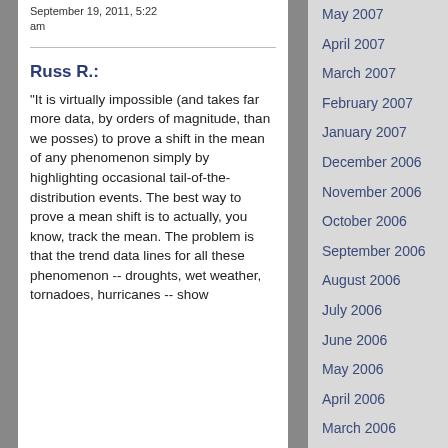September 19, 2011, 5:22 am
Russ R.:
"It is virtually impossible (and takes far more data, by orders of magnitude, than we posses) to prove a shift in the mean of any phenomenon simply by highlighting occasional tail-of-the-distribution events. The best way to prove a mean shift is to actually, you know, track the mean. The problem is that the trend data lines for all these phenomenon -- droughts, wet weather, tornadoes, hurricanes -- show
May 2007
April 2007
March 2007
February 2007
January 2007
December 2006
November 2006
October 2006
September 2006
August 2006
July 2006
June 2006
May 2006
April 2006
March 2006
February 2006
January 2006
December 2005
November 2005
October 2005
September 2005